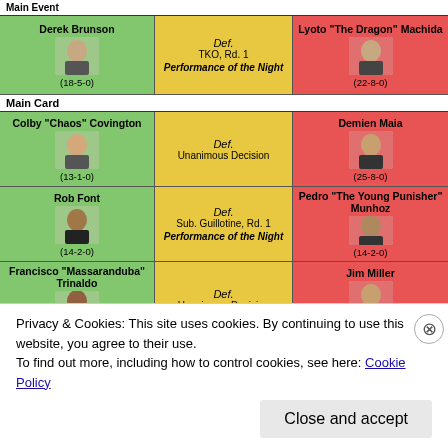Main Event
| Fighter (Winner) | Result | Fighter (Loser) |
| --- | --- | --- |
| Derek Brunson (18-5-0) | Def. TKO, Rd. 1 / Performance of the Night | Lyoto "The Dragon" Machida (22-8-0) |
Main Card
| Fighter (Winner) | Result | Fighter (Loser) |
| --- | --- | --- |
| Colby "Chaos" Covington (13-1-0) | Def. Unanimous Decision | Demien Maia (25-8-0) |
| Rob Font (14-2-0) | Def. Sub. Guillotine, Rd. 1 / Performance of the Night | Pedro "The Young Punisher" Munhoz (14-2-0) |
| Francisco "Massaranduba" Trinaldo (22-5-0) | Def. Unanimous Decision | Jim Miller (28-11-0) |
| Thiago "Marreta" Santos | Def. | Jack "The Joker" Hermansson |
Privacy & Cookies: This site uses cookies. By continuing to use this website, you agree to their use.
To find out more, including how to control cookies, see here: Cookie Policy
Close and accept